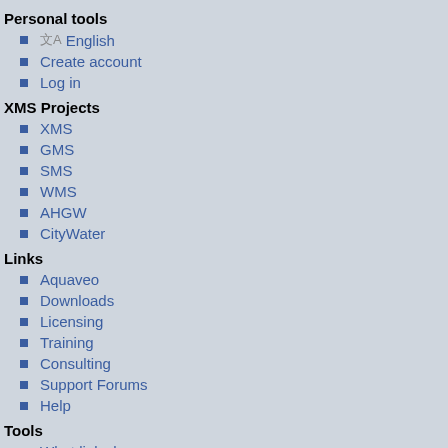Personal tools
English
Create account
Log in
XMS Projects
XMS
GMS
SMS
WMS
AHGW
CityWater
Links
Aquaveo
Downloads
Licensing
Training
Consulting
Support Forums
Help
Tools
What links here
Related changes
Special pages
Printable version
Permanent link